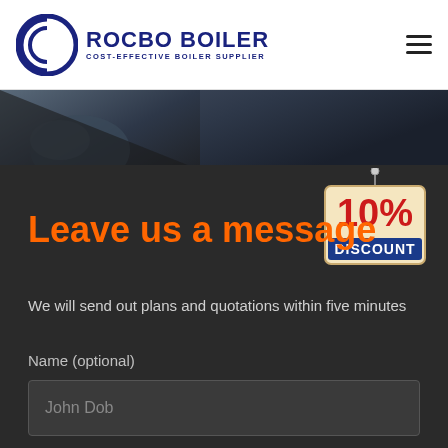ROCBO BOILER — COST-EFFECTIVE BOILER SUPPLIER
[Figure (screenshot): Dark hero image strip showing a hand/person silhouette against dark background]
[Figure (illustration): 10% DISCOUNT hanging sign badge in red and blue colors]
Leave us a message
We will send out plans and quotations within five minutes
Name (optional)
John Dob